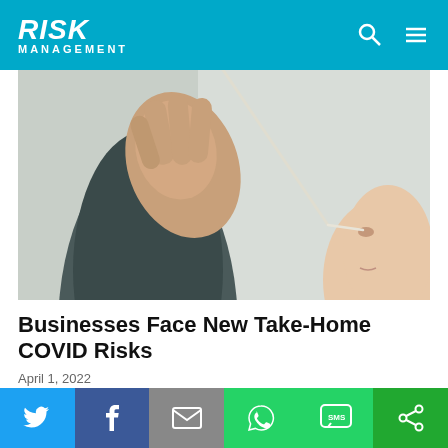RISK MANAGEMENT
[Figure (photo): A hand holding a COVID nasal swab test being administered to a person, close-up photo]
Businesses Face New Take-Home COVID Risks
April 1, 2022